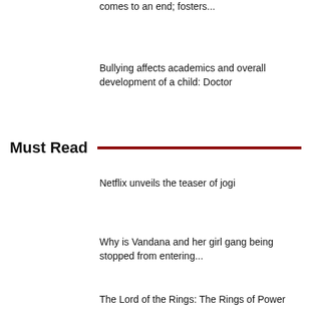comes to an end; fosters...
Bullying affects academics and overall development of a child: Doctor
Must Read
Netflix unveils the teaser of jogi
Why is Vandana and her girl gang being stopped from entering...
The Lord of the Rings: The Rings of Power